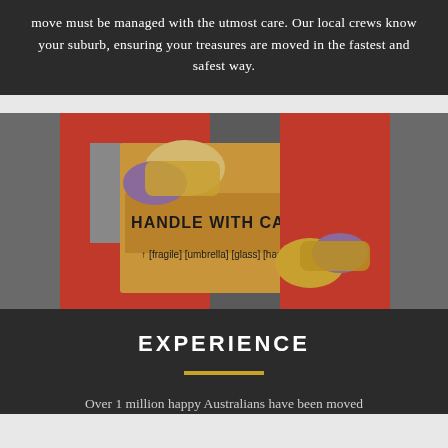move must be managed with the utmost care. Our local crews know your suburb, ensuring your treasures are moved in the fastest and safest way.
[Figure (photo): Two workers in red jackets wearing protective gloves holding a large cardboard box labeled HANDLE WITH CARE with shipping symbols]
EXPERIENCE
Over 1 million happy Australians have been moved